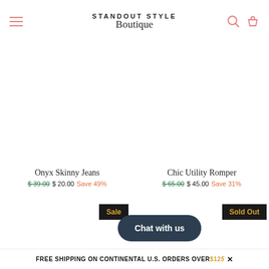STANDOUT STYLE Boutique
Onyx Skinny Jeans
$ 39.00  $ 20.00  Save 49%
Chic Utility Romper
$ 65.00  $ 45.00  Save 31%
Sale
Sold Out
Chat with us
FREE SHIPPING ON CONTINENTAL U.S. ORDERS OVER $125